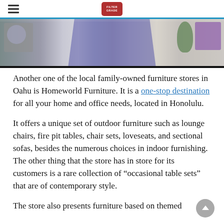Navigation header with hamburger menu and logo
[Figure (photo): Interior photo of a furniture store showroom with a person in a blue shirt, decorative items on the left, floral arrangement on the right, and green plant.]
Another one of the local family-owned furniture stores in Oahu is Homeworld Furniture. It is a one-stop destination for all your home and office needs, located in Honolulu.
It offers a unique set of outdoor furniture such as lounge chairs, fire pit tables, chair sets, loveseats, and sectional sofas, besides the numerous choices in indoor furnishing. The other thing that the store has in store for its customers is a rare collection of “occasional table sets” that are of contemporary style.
The store also presents furniture based on themed at home and home interior concepts. They also li…